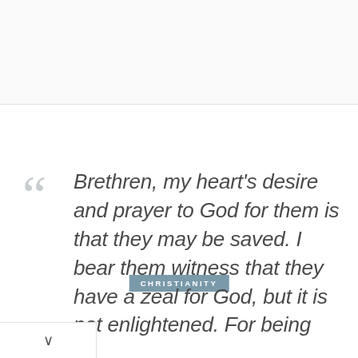CHRISTIANITY
Brethren, my heart's desire and prayer to God for them is that they may be saved. I bear them witness that they have a zeal for God, but it is not enlightened. For being